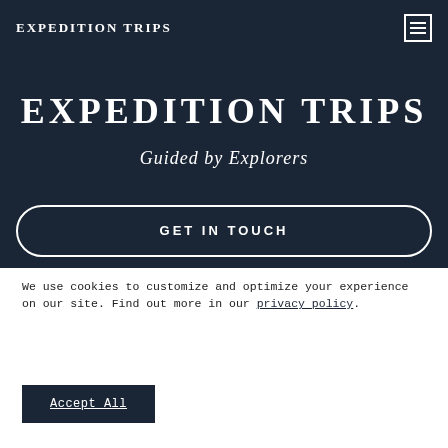EXPEDITION TRIPS
EXPEDITION TRIPS
Guided by Explorers
GET IN TOUCH
We use cookies to customize and optimize your experience on our site. Find out more in our privacy policy.
Accept All